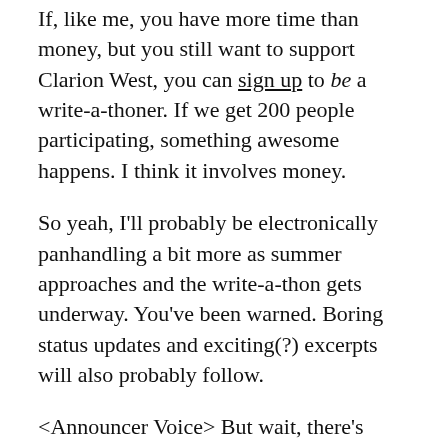If, like me, you have more time than money, but you still want to support Clarion West, you can sign up to be a write-a-thoner. If we get 200 people participating, something awesome happens. I think it involves money.
So yeah, I'll probably be electronically panhandling a bit more as summer approaches and the write-a-thon gets underway. You've been warned. Boring status updates and exciting(?) excerpts will also probably follow.
<Announcer Voice> But wait, there's more!
This summer my Norwegian family is having a reunion, which means that for three weeks I'll be in Iceland and Norway. Whoo! This